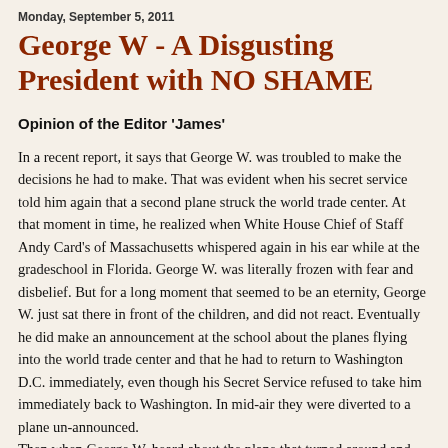Monday, September 5, 2011
George W - A Disgusting President with NO SHAME
Opinion of the Editor 'James'
In a recent report, it says that George W. was troubled to make the decisions he had to make. That was evident when his secret service told him again that a second plane struck the world trade center. At that moment in time, he realized when White House Chief of Staff Andy Card's of Massachusetts whispered again in his ear while at the gradeschool in Florida. George W. was literally frozen with fear and disbelief. But for a long moment that seemed to be an eternity, George W. just sat there in front of the children, and did not react. Eventually he did make an announcement at the school about the planes flying into the world trade center and that he had to return to Washington D.C. immediately, even though his Secret Service refused to take him  immediately back to Washington. In mid-air they were diverted to a plane un-announced.
Then when George W. heard about the plane that turned around and started heading towards Washington, which eventually crashed